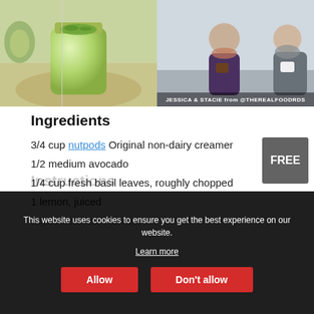[Figure (photo): Two food photos side by side: left shows a green avocado-based dressing in a glass jar, right shows two people (Jessica & Stacie from @THEREALFOODRDS) sitting and holding cups.]
Ingredients
3/4 cup nutpods Original non-dairy creamer
1/2 medium avocado
1/4 cup fresh basil leaves, roughly chopped
1 lemon, juiced
2 garlic cloves, minced
Instructions
This website uses cookies to ensure you get the best experience on our website. Learn more
Allow | Don't allow